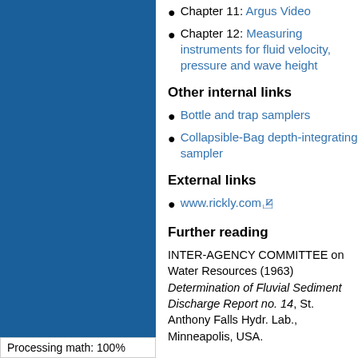Chapter 11: Argus Video
Chapter 12: Measuring instruments for fluid velocity, pressure and wave height
Other internal links
Bottle and trap samplers
Collapsible-Bag depth-integrating sampler
External links
www.rickly.com
Further reading
INTER-AGENCY COMMITTEE on Water Resources (1963) Determination of Fluvial Sediment Discharge Report no. 14, St. Anthony Falls Hydr. Lab., Minneapolis, USA.
Processing math: 100%